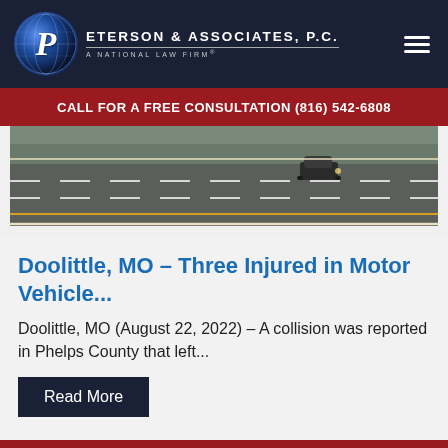Peterson & Associates, P.C. — A National Law Firm®
CALL FOR A FREE CONSULTATION (816) 542-6808
[Figure (photo): Highway road photo showing a car driving on a multi-lane road]
Doolittle, MO – Three Injured in Motor Vehicle...
Doolittle, MO (August 22, 2022) – A collision was reported in Phelps County that left...
Read More